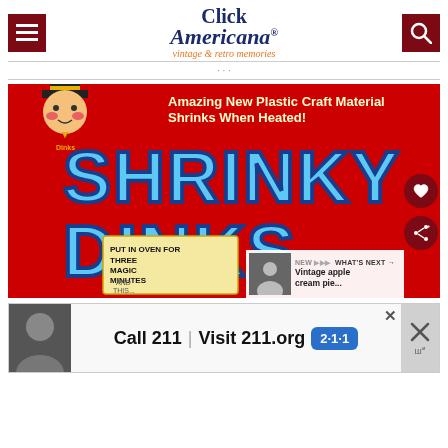Click Americana — vintage & retro memories
[Figure (photo): Shrinky Dinks vintage toy box artwork on red background with large blue bubble text reading SHRINKY DINKS, mascot character in top hat, text 'Amazing New Plastic Craft Material Shrinks When Heated!', and 'Put In Oven For Three Magic Minutes' instructions]
[Figure (photo): Advertisement: Call 211 | Visit 211.org with 2-1-1 badge, showing a man on the left side]